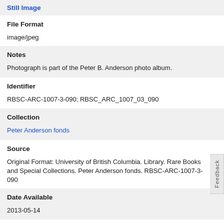Still Image
File Format
image/jpeg
Notes
Photograph is part of the Peter B. Anderson photo album.
Identifier
RBSC-ARC-1007-3-090; RBSC_ARC_1007_03_090
Collection
Peter Anderson fonds
Source
Original Format: University of British Columbia. Library. Rare Books and Special Collections. Peter Anderson fonds. RBSC-ARC-1007-3-090
Date Available
2013-05-14